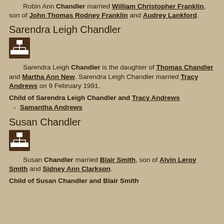Robin Ann Chandler married William Christopher Franklin, son of John Thomas Rodney Franklin and Audrey Lankford.
Sarendra Leigh Chandler
[Figure (other): Family tree / genealogy icon showing organizational chart symbol on dark brown background]
Sarendra Leigh Chandler is the daughter of Thomas Chandler and Martha Ann New. Sarendra Leigh Chandler married Tracy Andrews on 9 February 1991.
Child of Sarendra Leigh Chandler and Tracy Andrews
Samantha Andrews
Susan Chandler
[Figure (other): Family tree / genealogy icon showing organizational chart symbol on dark brown background]
Susan Chandler married Blair Smith, son of Alvin Leroy Smith and Sidney Ann Clarkson.
Child of Susan Chandler and Blair Smith